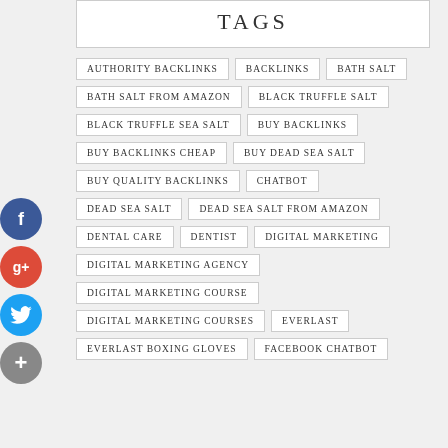TAGS
AUTHORITY BACKLINKS
BACKLINKS
BATH SALT
BATH SALT FROM AMAZON
BLACK TRUFFLE SALT
BLACK TRUFFLE SEA SALT
BUY BACKLINKS
BUY BACKLINKS CHEAP
BUY DEAD SEA SALT
BUY QUALITY BACKLINKS
CHATBOT
DEAD SEA SALT
DEAD SEA SALT FROM AMAZON
DENTAL CARE
DENTIST
DIGITAL MARKETING
DIGITAL MARKETING AGENCY
DIGITAL MARKETING COURSE
DIGITAL MARKETING COURSES
EVERLAST
EVERLAST BOXING GLOVES
FACEBOOK CHATBOT